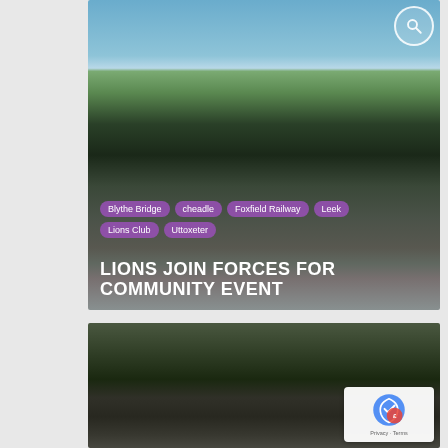[Figure (photo): Photo of people boarding a vintage green steam locomotive at a railway station platform on a sunny day. A person in a pink/mauve outfit is stepping onto the train. The locomotive dominates the right side of the image.]
Blythe Bridge
cheadle
Foxfield Railway
Leek
Lions Club
Uttoxeter
LIONS JOIN FORCES FOR COMMUNITY EVENT
[Figure (photo): Partial photo showing a dark outdoor scene, possibly railway or countryside, with a reCAPTCHA privacy badge visible in the bottom right corner.]